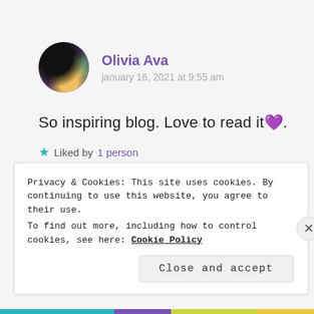[Figure (photo): Circular avatar photo of a person silhouette, dark toned image]
Olivia Ava
january 16, 2021 at 9:55 am
So inspiring blog. Love to read it 💜.
★ Liked by 1 person
Reply
Privacy & Cookies: This site uses cookies. By continuing to use this website, you agree to their use.
To find out more, including how to control cookies, see here: Cookie Policy
Close and accept